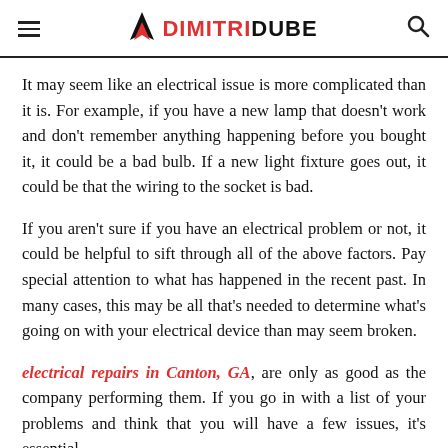DIMITRIDUBE
It may seem like an electrical issue is more complicated than it is. For example, if you have a new lamp that doesn't work and don't remember anything happening before you bought it, it could be a bad bulb. If a new light fixture goes out, it could be that the wiring to the socket is bad.
If you aren't sure if you have an electrical problem or not, it could be helpful to sift through all of the above factors. Pay special attention to what has happened in the recent past. In many cases, this may be all that's needed to determine what's going on with your electrical device than may seem broken.
electrical repairs in Canton, GA, are only as good as the company performing them. If you go in with a list of your problems and think that you will have a few issues, it's essential